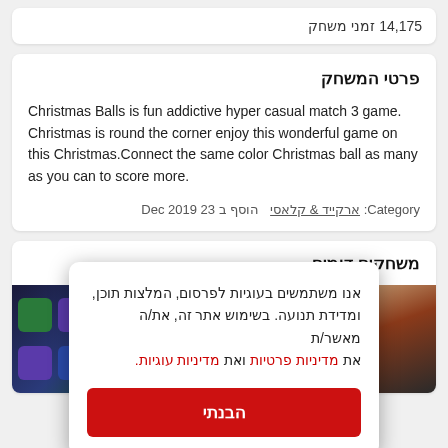14,175 זמני משחק
פרטי המשחק
Christmas Balls is fun addictive hyper casual match 3 game. Christmas is round the corner enjoy this wonderful game on this Christmas.Connect the same color Christmas ball as many as you can to score more.
Category: ארקייד & קלאסי  הוסף ב 23 Dec 2019
משחקים דומים
אנו משתמשים בעוגיות לפרסום, המלצות תוכן, ומדידת תנועה. בשימוש אתר זה, את/ה מאשר/ת את מדיניות פרטיות ואת מדיניות עוגיות.
הבנתי